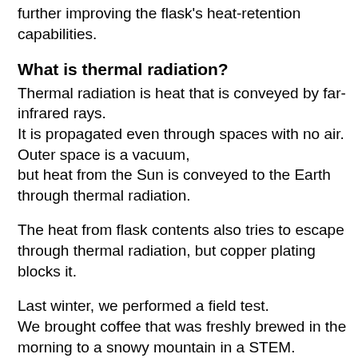This blocks heat transfer due to thermal radiation, further improving the flask's heat-retention capabilities.
What is thermal radiation?
Thermal radiation is heat that is conveyed by far-infrared rays.
It is propagated even through spaces with no air. Outer space is a vacuum,
but heat from the Sun is conveyed to the Earth through thermal radiation.
The heat from flask contents also tries to escape through thermal radiation, but copper plating blocks it.
Last winter, we performed a field test.
We brought coffee that was freshly brewed in the morning to a snowy mountain in a STEM.
In the evening, when we opened the STEM, steam rose out of the top.
It is so good at retaining heat that those who can't